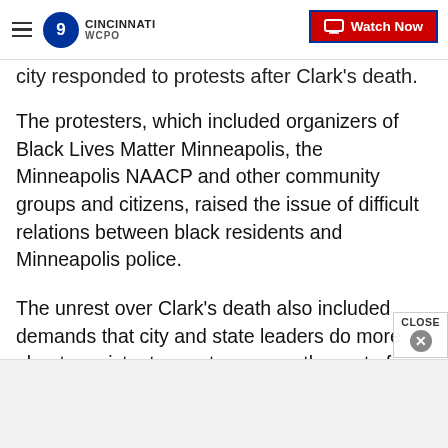WCPO 9 Cincinnati — Watch Now
city responded to protests after Clark's death.
The protesters, which included organizers of Black Lives Matter Minneapolis, the Minneapolis NAACP and other community groups and citizens, raised the issue of difficult relations between black residents and Minneapolis police.
The unrest over Clark's death also included demands that city and state leaders do more about persistent poverty seen as the root of racial tensions. The sta…